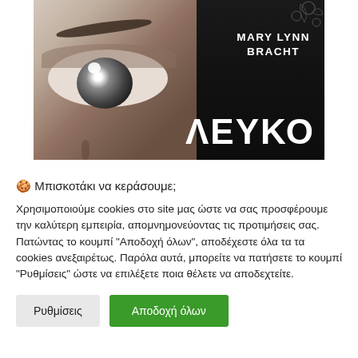[Figure (photo): Book cover for 'ΛΕΥΚΟ' by Mary Lynn Bracht. Shows a close-up of a person's eye on the left side against a gradient beige/brown background, and the right side is dark/black with the author name 'MARY LYNN BRACHT' in white uppercase letters and the Greek title 'ΛΕΥΚΟ' in large white bold letters at the bottom right.]
🍪 Μπισκοτάκι να κεράσουμε;
Χρησιμοποιούμε cookies στο site μας ώστε να σας προσφέρουμε την καλύτερη εμπειρία, απομνημονεύοντας τις προτιμήσεις σας. Πατώντας το κουμπί "Αποδοχή όλων", αποδέχεστε όλα τα τα cookies ανεξαιρέτως. Παρόλα αυτά, μπορείτε να πατήσετε το κουμπί "Ρυθμίσεις" ώστε να επιλέξετε ποια θέλετε να αποδεχτείτε.
Ρυθμίσεις
Αποδοχή όλων